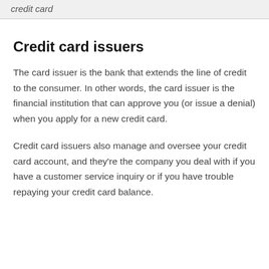credit card
Credit card issuers
The card issuer is the bank that extends the line of credit to the consumer. In other words, the card issuer is the financial institution that can approve you (or issue a denial) when you apply for a new credit card.
Credit card issuers also manage and oversee your credit card account, and they're the company you deal with if you have a customer service inquiry or if you have trouble repaying your credit card balance.